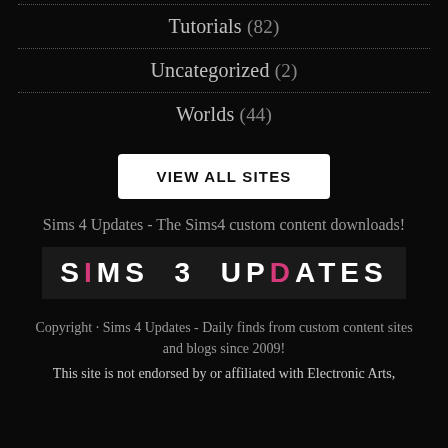Tutorials (82)
Uncategorized (2)
Worlds (44)
VIEW ALL SITES
Sims 4 Updates - The Sims4 custom content downloads!
[Figure (logo): SIMS 3 UPDATES logo with pink I and D letters on dark background]
Copyright · Sims 4 Updates - Daily finds from custom content sites and blogs since 2009!
This site is not endorsed by or affiliated with Electronic Arts,